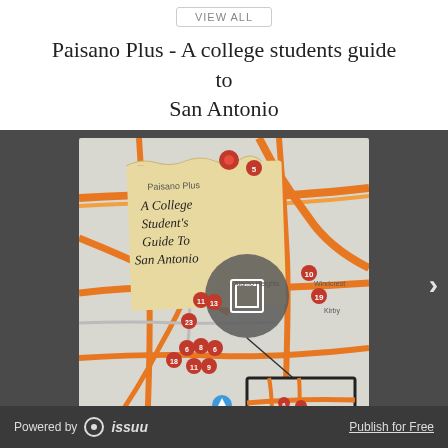VIEW ALL
Paisano Plus - A college students guide to San Antonio
[Figure (map): Interactive map of San Antonio showing pinned locations for a college student's guide, with numbered markers clustered in the downtown area and a zoom inset showing the cluster detail. Title card reads: 'A College Student's Guide To San Antonio'. Navigation arrows on right side.]
Powered by issuu   Publish for Free